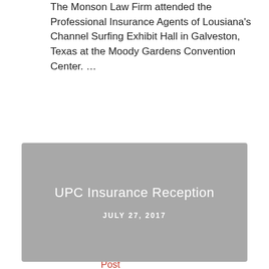The Monson Law Firm attended the Professional Insurance Agents of Lousiana's Channel Surfing Exhibit Hall in Galveston, Texas at the Moody Gardens Convention Center. …
Read This Post ›
[Figure (other): Gray placeholder image card showing 'UPC Insurance Reception' title and date 'JULY 27, 2017']
Our Marketing Director Ann'Lee Earles, CISR, CPIA attended the UPC Insurance reception at the PIA Convention in Galveston, Texas. Pictured is the UPC team …